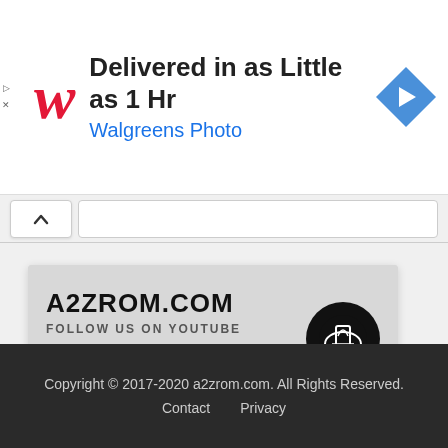[Figure (screenshot): Walgreens ad banner: red italic W logo, text 'Delivered in as Little as 1 Hr', subtitle 'Walgreens Photo', blue turn arrow icon on right]
[Figure (screenshot): Browser-like scroll-up bar with chevron button and input bar]
[Figure (logo): A2ZROM.COM YouTube channel promo card with black circle logo, SUBSCRIBE button in red, and red bottom strip]
Copyright © 2017-2020 a2zrom.com. All Rights Reserved.
Contact    Privacy